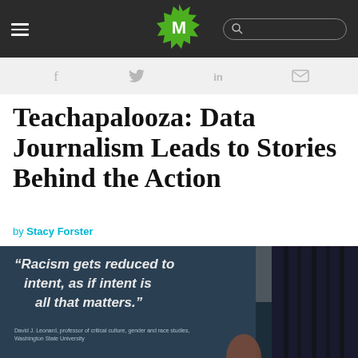M [logo] [hamburger menu] [search bar]
f [facebook] [twitter] in [linkedin] [email]
Teachapalooza: Data Journalism Leads to Stories Behind the Action
by Stacy Forster
[Figure (photo): Projection screen showing quote: "Racism gets reduced to intent, as if intent is all that matters." attributed to David J. Leonard, professor of critical culture, gender and race studies, Washington State University. A person is partially visible at the right edge.]